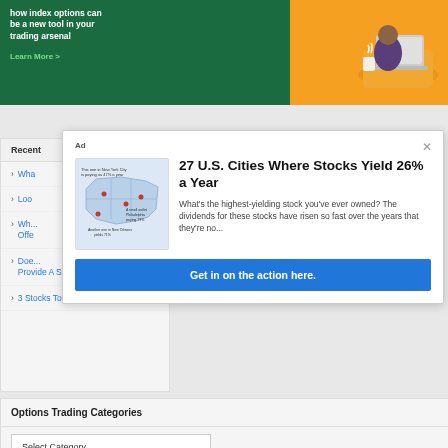[Figure (illustration): Top banner advertisement showing text about index options trading with an illustration of a person on a laptop. Green section on left, orange/illustrated section on right.]
how index options can be a new tool in your trading arsenal
Learn More >
Ad
27 U.S. Cities Where Stocks Yield 26% a Year
What's the highest-yielding stock you've ever owned? The dividends for these stocks have risen so fast over the years that they're no...
Get in on the action here.
Recent
Wha
Loo
Wh... Offe
Does... Provide A Safety Net?
3 Stocks To Sell Now
Options Trading Categories
Select Category